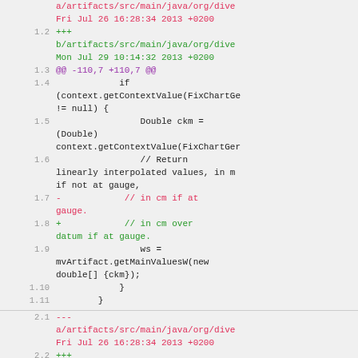[Figure (screenshot): Diff view of Java source code showing changes to artifact file, with line numbers, red removed lines, green added lines, and purple diff headers.]